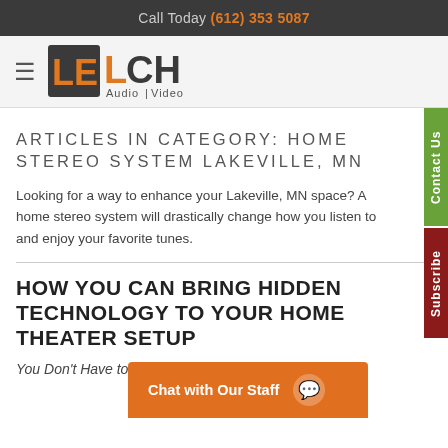Call Today (612) 353 5087
[Figure (logo): Lelch Audio Video logo with orange and dark square design]
ARTICLES IN CATEGORY: HOME STEREO SYSTEM LAKEVILLE, MN
Looking for a way to enhance your Lakeville, MN space? A home stereo system will drastically change how you listen to and enjoy your favorite tunes.
HOW YOU CAN BRING HIDDEN TECHNOLOGY TO YOUR HOME THEATER SETUP
You Don't Have to...